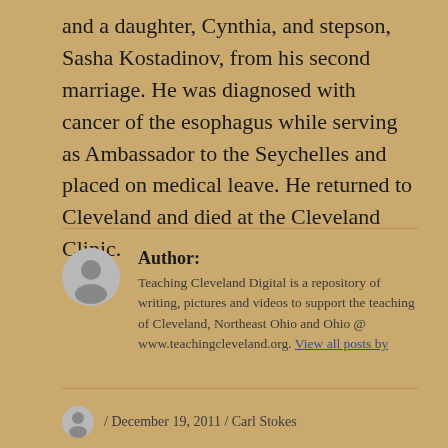and a daughter, Cynthia, and stepson, Sasha Kostadinov, from his second marriage. He was diagnosed with cancer of the esophagus while serving as Ambassador to the Seychelles and placed on medical leave. He returned to Cleveland and died at the Cleveland Clinic.
Author: Teaching Cleveland Digital is a repository of writing, pictures and videos to support the teaching of Cleveland, Northeast Ohio and Ohio @ www.teachingcleveland.org. View all posts by
/ December 19, 2011 / Carl Stokes